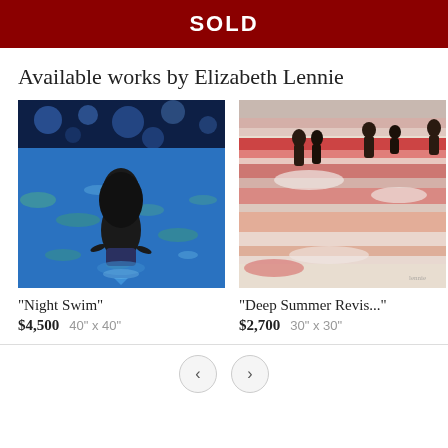SOLD
Available works by Elizabeth Lennie
[Figure (photo): Painting of a child swimming at night in a blue pool, viewed from behind, with dark water and light reflections.]
"Night Swim"
$4,500   40" x 40"
[Figure (photo): Painting of figures wading in shallow water with horizontal bands of red, pink, and beige reflecting on the surface.]
"Deep Summer Revis..."
$2,700   30" x 30"